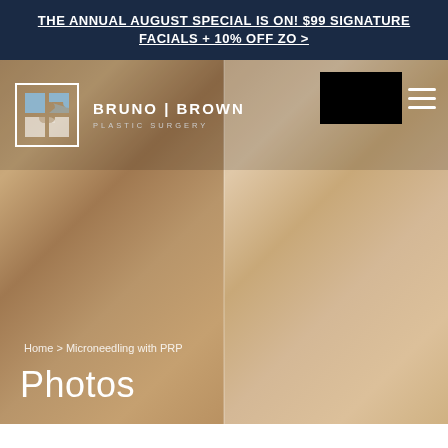THE ANNUAL AUGUST SPECIAL IS ON! $99 SIGNATURE FACIALS + 10% OFF ZO >
[Figure (screenshot): Bruno Brown Plastic Surgery website header with logo, brand name, a black redacted rectangle, hamburger menu icon, a before/after skin texture photo background, breadcrumb navigation 'Home > Microneedling with PRP', and page title 'Photos']